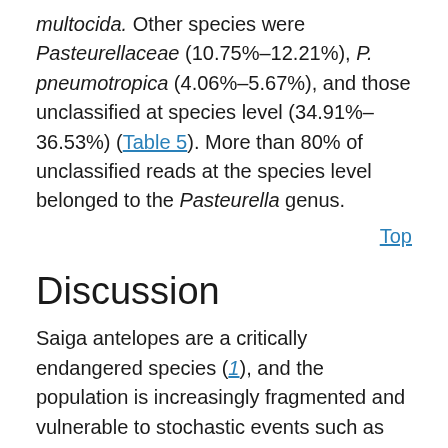multocida. Other species were Pasteurellaceae (10.75%–12.21%), P. pneumotropica (4.06%–5.67%), and those unclassified at species level (34.91%–36.53%) (Table 5). More than 80% of unclassified reads at the species level belonged to the Pasteurella genus.
Top
Discussion
Saiga antelopes are a critically endangered species (1), and the population is increasingly fragmented and vulnerable to stochastic events such as disease epidemics. The mass die-off in Kazakhstan and the small population of ≈10,000 in Mongolia recently devastated by peste des petits ruminants (PPR) virus in 2017 illustrates this point (3). The saiga antelopes